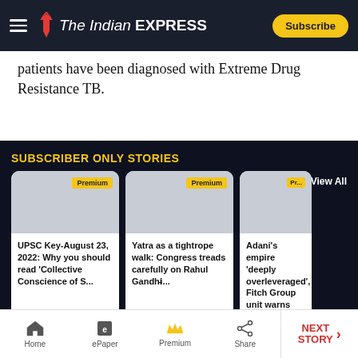The Indian EXPRESS — Subscribe
patients have been diagnosed with Extreme Drug Resistance TB.
SUBSCRIBER ONLY STORIES
View All
[Figure (screenshot): Premium article card: UPSC Key-August 23, 2022: Why you should read 'Collective Conscience of S...]
[Figure (screenshot): Premium article card: Yatra as a tightrope walk: Congress treads carefully on Rahul Gandhi&#821...]
[Figure (screenshot): Premium article card: Adani's empire 'deeply overleveraged', Fitch Group unit warns]
Subscribe Now to get 62% OFF
Home | ePaper | Premium | Share | NEXT STORY